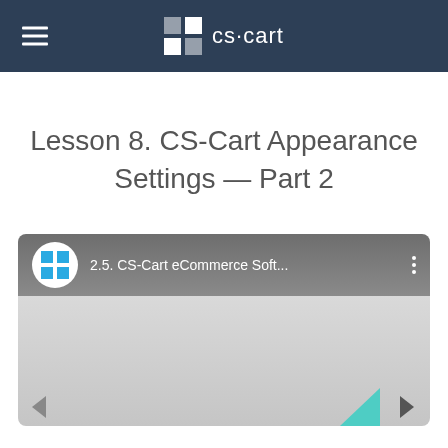cs·cart
Lesson 8. CS-Cart Appearance Settings — Part 2
[Figure (screenshot): YouTube video embed thumbnail showing CS-Cart channel avatar with text '2.5. CS-Cart eCommerce Soft...' and three-dot menu icon on a dark gray bar, with light gray video preview area below]